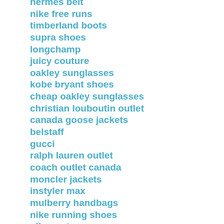hermes belt
nike free runs
timberland boots
supra shoes
longchamp
juicy couture
oakley sunglasses
kobe bryant shoes
cheap oakley sunglasses
christian louboutin outlet
canada goose jackets
belstaff
gucci
ralph lauren outlet
coach outlet canada
moncler jackets
instyler max
mulberry handbags
nike running shoes
nike cortez
air max
rolex watches
nike air huarache